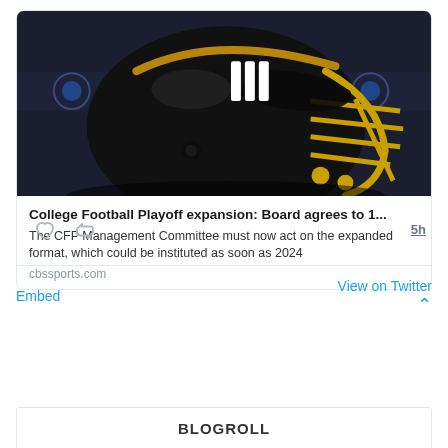[Figure (photo): Black and gold College Football Playoff branded helmet displayed against a dark backdrop with CFP logos]
College Football Playoff expansion: Board agrees to 1...
The CFP Management Committee must now act on the expanded format, which could be instituted as soon as 2024
cbssports.com
5h
Embed
View on Twitter
BLOGROLL